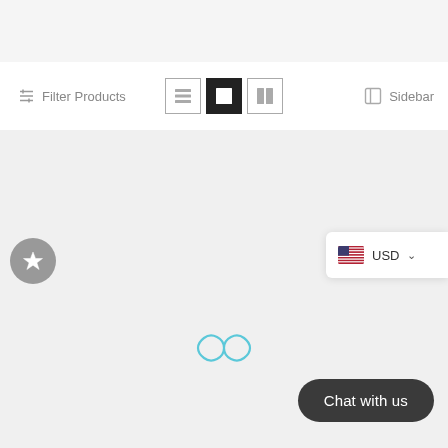[Figure (screenshot): Top grey bar area of a product listing webpage]
Filter Products
[Figure (other): Three view layout toggle icons: list view, single/grid view (active/selected in black), and two-column view]
Sidebar
[Figure (other): Grey circular button with a star icon]
[Figure (other): USD currency selector badge with US flag and chevron]
[Figure (other): Teal/cyan infinity loading symbol in the center of the page]
Chat with us